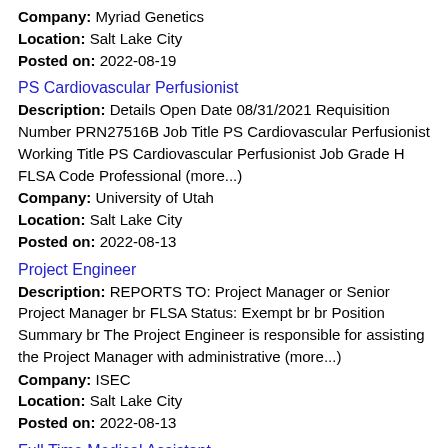Company: Myriad Genetics
Location: Salt Lake City
Posted on: 2022-08-19
PS Cardiovascular Perfusionist
Description: Details Open Date 08/31/2021 Requisition Number PRN27516B Job Title PS Cardiovascular Perfusionist Working Title PS Cardiovascular Perfusionist Job Grade H FLSA Code Professional (more...)
Company: University of Utah
Location: Salt Lake City
Posted on: 2022-08-13
Project Engineer
Description: REPORTS TO: Project Manager or Senior Project Manager br FLSA Status: Exempt br br Position Summary br The Project Engineer is responsible for assisting the Project Manager with administrative (more...)
Company: ISEC
Location: Salt Lake City
Posted on: 2022-08-13
Full Time Medical Assistant
Description: CURRENT OPENINGS: Full Time Medical Assistant Kaysville Employment Type: Full-Time, Benefit Eligible Work Schedule: Monday - Friday 9:00am-5:00pmWee Care
Company: Wee Care Pediatrics